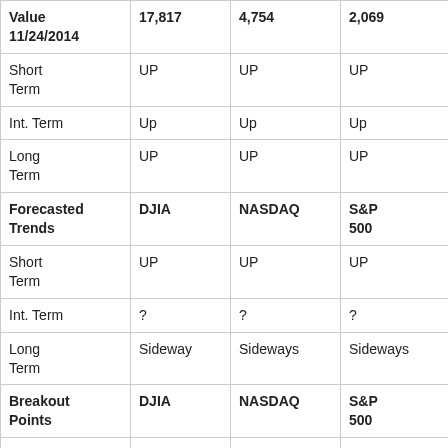|  | DJIA | NASDAQ | S&P 500 |
| --- | --- | --- | --- |
| Value 11/24/2014 | 17,817 | 4,754 | 2,069 |
| Short Term | UP | UP | UP |
| Int. Term | Up | Up | Up |
| Long Term | UP | UP | UP |
| Forecasted Trends | DJIA | NASDAQ | S&P 500 |
| Short Term | UP | UP | UP |
| Int. Term | ? | ? | ? |
| Long Term | Sideway | Sideways | Sideways |
| Breakout Points | DJIA | NASDAQ | S&P 500 |
| Short Term Up (Resistance) | 17,830 | 4,754 | 2,069 |
| Short Term Down | 15,855 | 4,116 | 1,820/1814 |